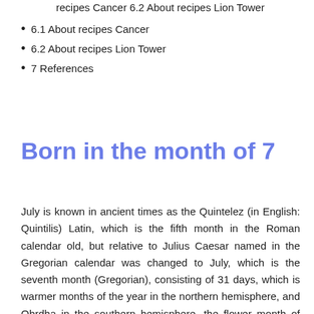recipes Cancer 6.2 About recipes Lion Tower
6.1 About recipes Cancer
6.2 About recipes Lion Tower
7 References
Born in the month of 7
July is known in ancient times as the Quintelez (in English: Quintilis) Latin, which is the fifth month in the Roman calendar old, but relative to Julius Caesar named in the Gregorian calendar was changed to July, which is the seventh month (Gregorian), consisting of 31 days, which is warmer months of the year in the northern hemisphere, and Obrdha in the southern hemisphere, the flower month of July is the water lily, while Iap Karim is a sapphire, and meet